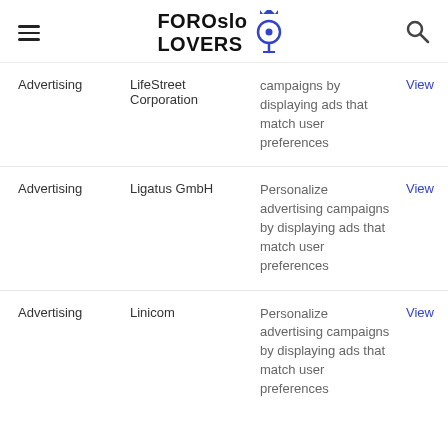FOR Oslo LOVERS [logo with pin icon and search]
| Category | Company | Description | Link |
| --- | --- | --- | --- |
| Advertising | LifeStreet Corporation | campaigns by displaying ads that match user preferences | View |
| Advertising | Ligatus GmbH | Personalize advertising campaigns by displaying ads that match user preferences | View |
| Advertising | Linicom | Personalize advertising campaigns by displaying ads that match user preferences | View |